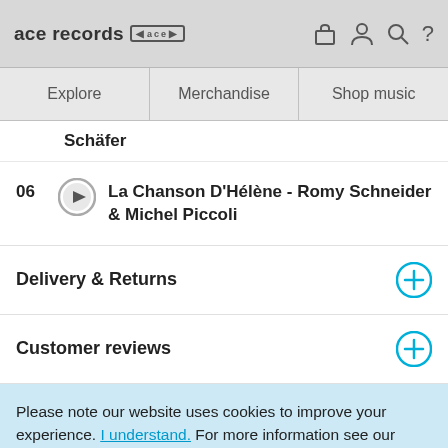ace records [logo]
Explore | Merchandise | Shop music
Schäfer
06 La Chanson D'Hélène - Romy Schneider & Michel Piccoli
Delivery & Returns
Customer reviews
Please note our website uses cookies to improve your experience. I understand. For more information see our Privacy Notice & Cookie Policy.